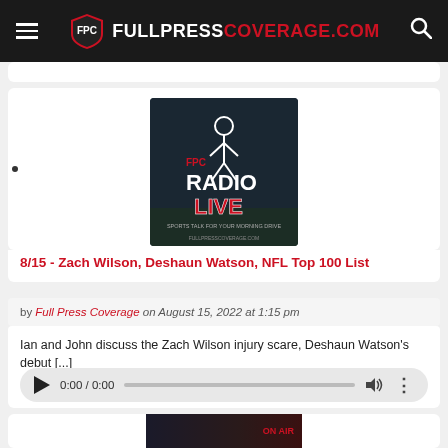FULLPRESSCOVERAGE.COM
[Figure (logo): FPC Radio Live podcast cover image with cartoon figure at microphone]
8/15 - Zach Wilson, Deshaun Watson, NFL Top 100 List
by Full Press Coverage on August 15, 2022 at 1:15 pm
Ian and John discuss the Zach Wilson injury scare, Deshaun Watson's debut [...]
[Figure (screenshot): Audio player showing 0:00 / 0:00 with play button, progress bar, volume icon, and more options]
[Figure (photo): Partial image of radio equipment with ON AIR sign visible at bottom of page]